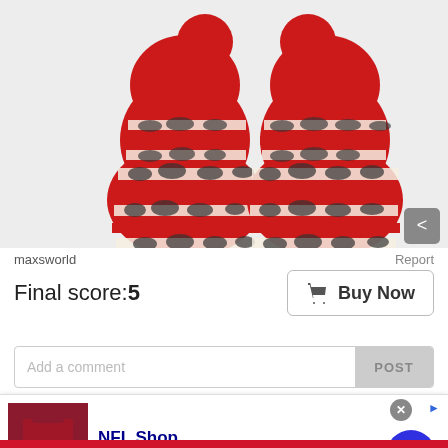[Figure (photo): Two red, white and black patterned knitted mittens viewed from the back, laid flat on a white background. The mittens feature horizontal stripes with black animal print or Nordic-style patterns.]
maxsworld
Report
Final score:5
Buy Now
Add a comment
POST
[Figure (screenshot): Advertisement banner for NFL Shop. Shows red/maroon football jersey image on left with SHOP NOW button. Text reads: NFL Shop, Free shipping on orders over $25, www.nflshop.com. Blue circular arrow button on right side.]